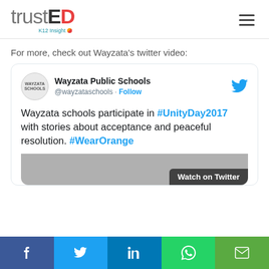trustED K12 Insight
For more, check out Wayzata’s twitter video:
[Figure (screenshot): Embedded tweet from Wayzata Public Schools (@wayzataschools) showing: 'Wayzata schools participate in #UnityDay2017 with stories about acceptance and peaceful resolution. #WearOrange' with a Follow button and Twitter logo, and a partial image preview with 'Watch on Twitter' overlay.]
Social share bar: Facebook, Twitter, LinkedIn, WhatsApp, Email